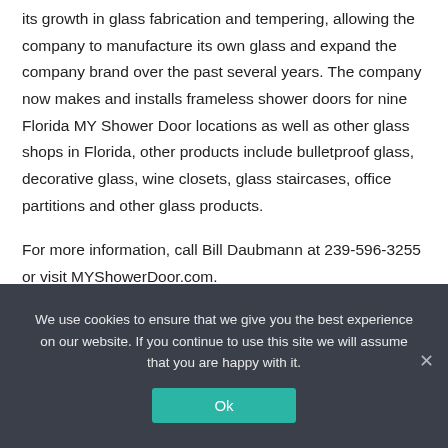its growth in glass fabrication and tempering, allowing the company to manufacture its own glass and expand the company brand over the past several years. The company now makes and installs frameless shower doors for nine Florida MY Shower Door locations as well as other glass shops in Florida, other products include bulletproof glass, decorative glass, wine closets, glass staircases, office partitions and other glass products.
For more information, call Bill Daubmann at 239-596-3255 or visit MYShowerDoor.com.
Priority Marketing hires Rosales as marketing coordinator
We use cookies to ensure that we give you the best experience on our website. If you continue to use this site we will assume that you are happy with it.